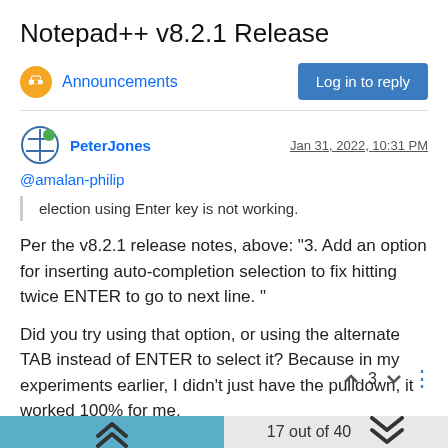Notepad++ v8.2.1 Release
Announcements
Log in to reply
PeterJones
Jan 31, 2022, 10:31 PM
@amalan-philip
election using Enter key is not working.
Per the v8.2.1 release notes, above: "3. Add an option for inserting auto-completion selection to fix hitting twice ENTER to go to next line. "
Did you try using that option, or using the alternate TAB instead of ENTER to select it? Because in my experiments earlier, I didn't just have the pulldown, it worked 100% for me.
17 out of 40